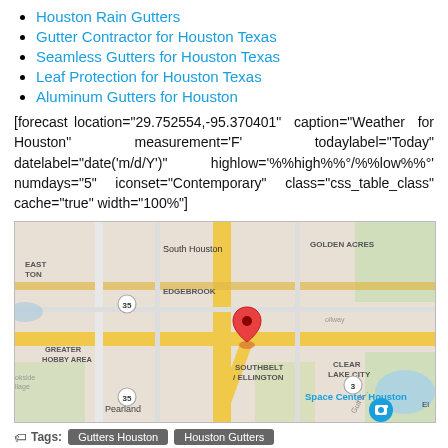Houston Rain Gutters
Gutter Contractor for Houston Texas
Seamless Gutters for Houston Texas
Leaf Protection for Houston Texas
Aluminum Gutters for Houston
[forecast location="29.752554,-95.370401" caption="Weather for Houston" measurement='F' todaylabel="Today" datelabel="date('m/d/Y')" highlow='%%high%%°/%%low%%°' numdays="5" iconset="Contemporary" class="css_table_class" cache="true" width="100%"]
[Figure (map): Google map showing South Houston / Southbelt / Ellington area with a red location pin marker near Southbelt Ellington. Visible labels include South Houston, Golden Acres, Edgebrook, Greater Hobby Area, Southbelt/Ellington, Clear Lake City, Space Center Houston, Pearland, and highway markers 35 and 3.]
Tags: Gutters Houston  Houston Gutters